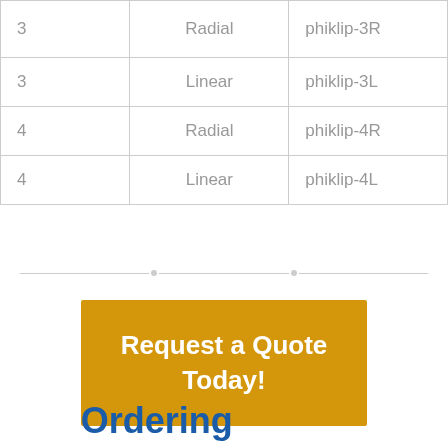|  |  |  |
| --- | --- | --- |
| 3 | Radial | phiklip-3R |
| 3 | Linear | phiklip-3L |
| 4 | Radial | phiklip-4R |
| 4 | Linear | phiklip-4L |
Request a Quote Today!
Ordering